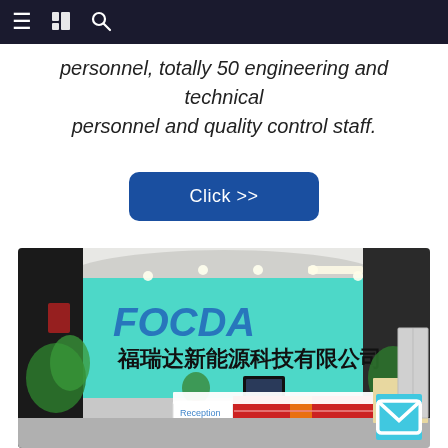≡  [book icon]  🔍
personnel, totally 50 engineering and technical personnel and quality control staff.
Click >>
[Figure (photo): Reception area of Focda (福瑞达新能源科技有限公司) office building, showing a teal accent wall with company logo 'FOCDA' and Chinese company name, a red-and-white reception desk with orange trim, a computer monitor, plants, and a 'Reception' sign.]